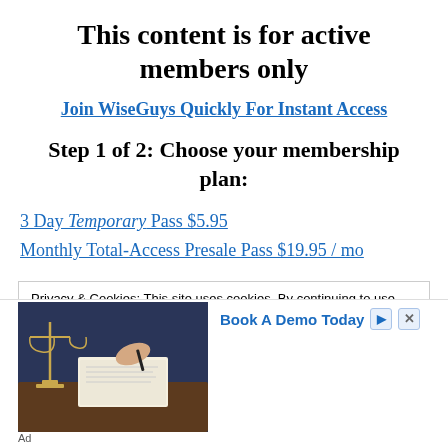This content is for active members only
Join WiseGuys Quickly For Instant Access
Step 1 of 2: Choose your membership plan:
3 Day Temporary Pass $5.95
Monthly Total-Access Presale Pass $19.95 / mo
Privacy & Cookies: This site uses cookies. By continuing to use this website, you agree to their use. To find out more, including how to control cookies, see here:
[Figure (photo): Advertisement banner showing scales of justice and a person writing, with 'Book A Demo Today' call to action]
Ad